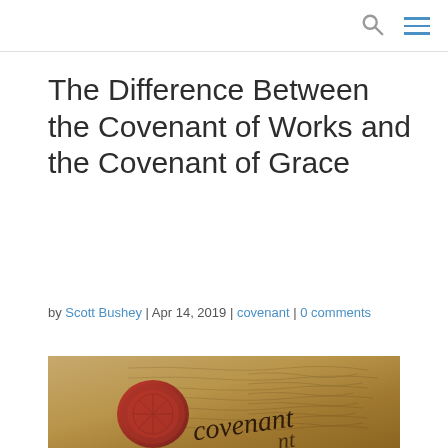The Difference Between the Covenant of Works and the Covenant of Grace
by Scott Bushey | Apr 14, 2019 | covenant | 0 comments
[Figure (photo): Old parchment document with cursive handwriting, featuring a red wax seal and the word 'covenant' written in calligraphy script]